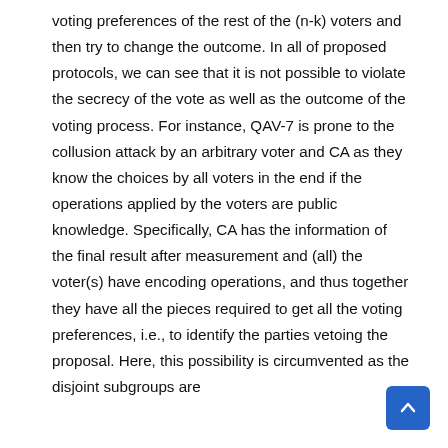voting preferences of the rest of the (n-k) voters and then try to change the outcome. In all of proposed protocols, we can see that it is not possible to violate the secrecy of the vote as well as the outcome of the voting process. For instance, QAV-7 is prone to the collusion attack by an arbitrary voter and CA as they know the choices by all voters in the end if the operations applied by the voters are public knowledge. Specifically, CA has the information of the final result after measurement and (all) the voter(s) have encoding operations, and thus together they have all the pieces required to get all the voting preferences, i.e., to identify the parties vetoing the proposal. Here, this possibility is circumvented as the disjoint subgroups are